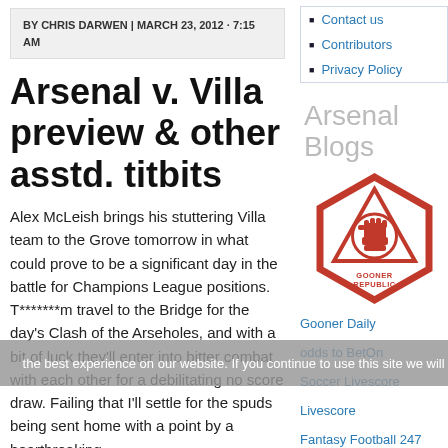Contact us
Contributors
Privacy Policy
BY CHRIS DARWEN | MARCH 23, 2012 · 7:15 AM
Arsenal v. Villa preview & other asstd. titbits
Arsenal Blogs
[Figure (logo): Gooner Republic hexagonal logo in red with raised fist and text 'GOONER REPUBLIC']
Gooner Daily
odds to BetOn
Soccer Livescore
Livescore
Fantasy Football 247
Alex McLeish brings his stuttering Villa team to the Grove tomorrow in what could prove to be a significant day in the battle for Champions League positions. T*******m travel to the Bridge for the day's Clash of the Arseholes, and with a bit of luck they'll enter into bitter combat with each other for a debilitating no score draw. Failing that I'll settle for the spuds being sent home with a point by a heartbreaking